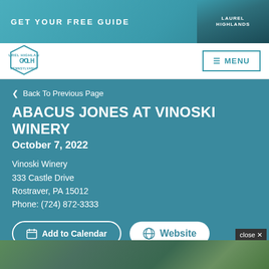GET YOUR FREE GUIDE
[Figure (logo): GO LH Laurel Highlands Pennsylvania hexagonal badge logo]
≡ MENU
< Back To Previous Page
ABACUS JONES AT VINOSKI WINERY
October 7, 2022
Vinoski Winery
333 Castle Drive
Rostraver, PA 15012
Phone: (724) 872-3333
Add to Calendar
Website
[Figure (photo): Outdoor nature photo with green leaves and branches]